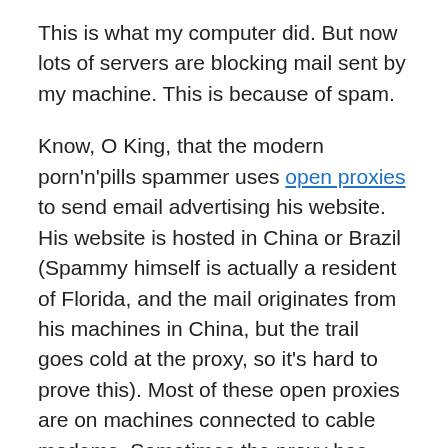This is what my computer did. But now lots of servers are blocking mail sent by my machine. This is because of spam.
Know, O King, that the modern porn'n'pills spammer uses open proxies to send email advertising his website. His website is hosted in China or Brazil (Spammy himself is actually a resident of Florida, and the mail originates from his machines in China, but the trail goes cold at the proxy, so it's hard to prove this). Most of these open proxies are on machines connected to cable modems. Sometimes the proxy has been installed without the owner's knowledge, perhaps by one of these “virus” things you Outlook users are so keen on. Sometimes, the owner installed the proxy themselves to share their cable connection with a local network, but misconfigured it. Misconfiguration is easy when your chosen software is insecure by design. Marc Thompson, author of the AnalogX proxy, must surely be a